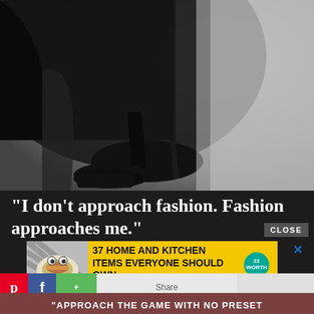[Figure (photo): Black and white fashion photo showing high heel shoes and dark clothing, dramatic lighting]
“I don’t approach fashion. Fashion approaches me.”
-Daphne Guinness
CLOSE
[Figure (photo): Advertisement showing food items with striped background]
37 HOME AND KITCHEN ITEMS EVERYONE SHOULD OWN
“APPROACH THE GAME WITH NO PRESET